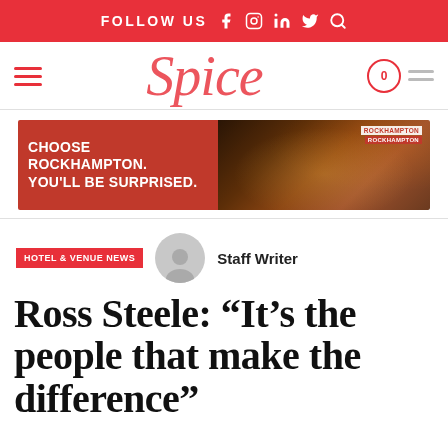FOLLOW US
[Figure (logo): Spice magazine logo in pink/red italic serif font]
[Figure (infographic): Advertisement banner: CHOOSE ROCKHAMPTON. YOU'LL BE SURPRISED. with night event photo]
HOTEL & VENUE NEWS
Staff Writer
Ross Steele: “It’s the people that make the difference”